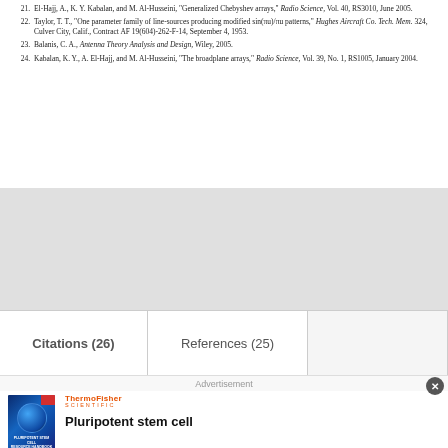21. El-Hajj, A., K. Y. Kabalan, and M. Al-Husseini, "Generalized Chebyshev arrays," Radio Science, Vol. 40, RS3010, June 2005.
22. Taylor, T. T., "One parameter family of line-sources producing modified sin(πu)/πu patterns," Hughes Aircraft Co. Tech. Mem. 324, Culver City, Calif., Contract AF 19(604)-262-F-14, September 4, 1953.
23. Balanis, C. A., Antenna Theory Analysis and Design, Wiley, 2005.
24. Kabalan, K. Y., A. El-Hajj, and M. Al-Husseini, "The broadplane arrays," Radio Science, Vol. 39, No. 1, RS1005, January 2004.
Citations (26)
References (25)
Advertisement
ThermoFisher SCIENTIFIC
Pluripotent stem cell